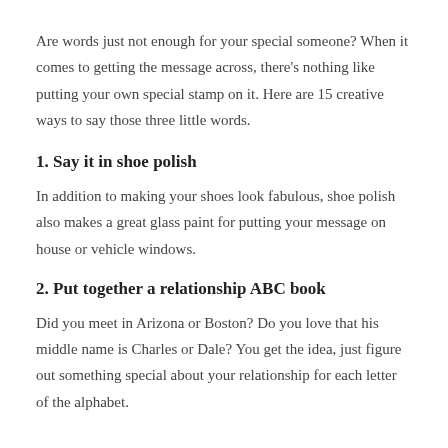Are words just not enough for your special someone? When it comes to getting the message across, there's nothing like putting your own special stamp on it. Here are 15 creative ways to say those three little words.
1. Say it in shoe polish
In addition to making your shoes look fabulous, shoe polish also makes a great glass paint for putting your message on house or vehicle windows.
2. Put together a relationship ABC book
Did you meet in Arizona or Boston? Do you love that his middle name is Charles or Dale? You get the idea, just figure out something special about your relationship for each letter of the alphabet.